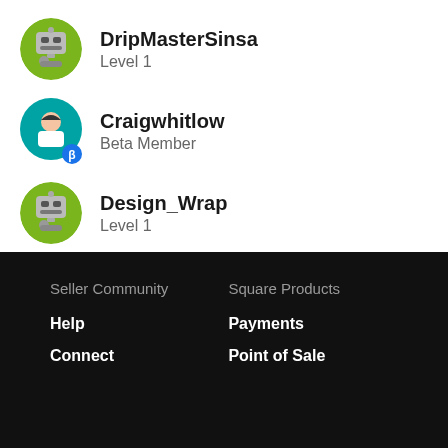DripMasterSinsa
Level 1
Craigwhitlow
Beta Member
Design_Wrap
Level 1
VIEW MORE ›
Seller Community
Help
Connect
Square Products
Payments
Point of Sale